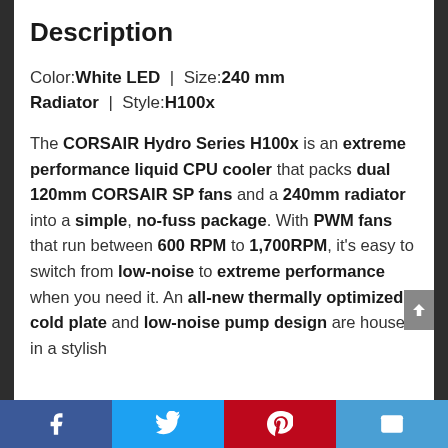Description
Color: White LED | Size: 240 mm Radiator | Style: H100x
The CORSAIR Hydro Series H100x is an extreme performance liquid CPU cooler that packs dual 120mm CORSAIR SP fans and a 240mm radiator into a simple, no-fuss package. With PWM fans that run between 600 RPM to 1,700RPM, it's easy to switch from low-noise to extreme performance when you need it. An all-new thermally optimized cold plate and low-noise pump design are housed in a stylish
Facebook | Twitter | Pinterest | Email